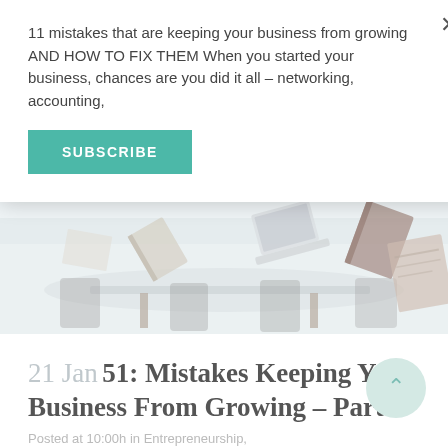11 mistakes that are keeping your business from growing AND HOW TO FIX THEM When you started your business, chances are you did it all – networking, accounting,
SUBSCRIBE
[Figure (photo): Office scene with chairs, desks, and floating/tossed books and laptops in a bright, airy space]
21 Jan 51: Mistakes Keeping Your Business From Growing – Part 2
Posted at 10:00h in Entrepreneurship,